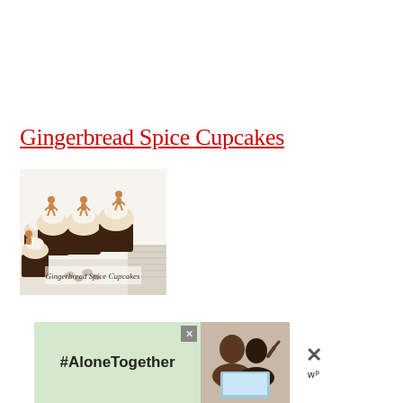Gingerbread Spice Cupcakes
[Figure (photo): Photo of gingerbread spice cupcakes with white frosting and gingerbread man toppers, with text overlay 'Gingerbread Spice Cupcakes']
[Figure (infographic): Advertisement banner with green background showing '#AloneTogether' text on the left and a photo of two people on the right, with close/X buttons]